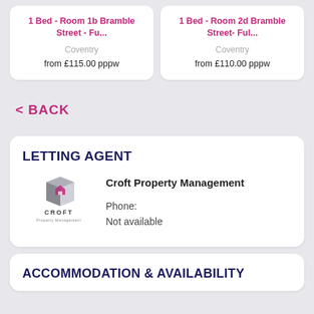1 Bed - Room 1b Bramble Street - Fu...
Coventry
from £115.00 pppw
1 Bed - Room 2d Bramble Street- Ful...
Coventry
from £110.00 pppw
< BACK
LETTING AGENT
[Figure (logo): Croft Property Management logo — a grey cube icon with a small house symbol, below it text reads CROFT and Property Management]
Croft Property Management
Phone:
Not available
ACCOMMODATION & AVAILABILITY